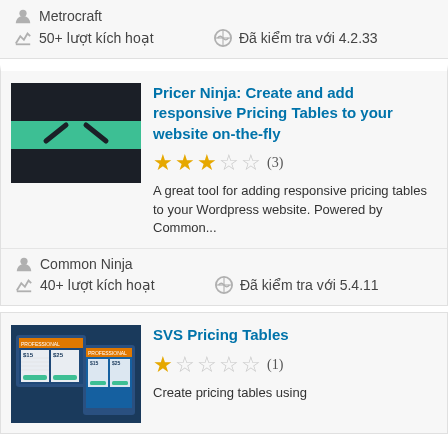Metrocraft
50+ lượt kích hoạt
Đã kiểm tra với 4.2.33
Pricer Ninja: Create and add responsive Pricing Tables to your website on-the-fly
★★★☆☆ (3)
A great tool for adding responsive pricing tables to your Wordpress website. Powered by Common...
Common Ninja
40+ lượt kích hoạt
Đã kiểm tra với 5.4.11
SVS Pricing Tables
★☆☆☆☆ (1)
Create pricing tables using